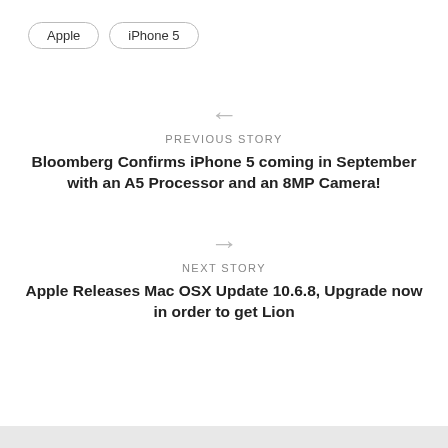Apple
iPhone 5
← PREVIOUS STORY
Bloomberg Confirms iPhone 5 coming in September with an A5 Processor and an 8MP Camera!
→ NEXT STORY
Apple Releases Mac OSX Update 10.6.8, Upgrade now in order to get Lion